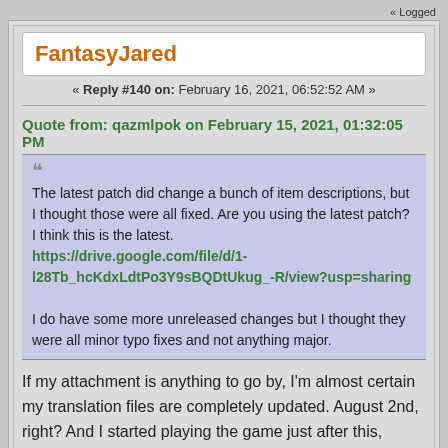« Logged
FantasyJared
« Reply #140 on: February 16, 2021, 06:52:52 AM »
Quote from: qazmlpok on February 15, 2021, 01:32:05 PM
The latest patch did change a bunch of item descriptions, but I thought those were all fixed. Are you using the latest patch? I think this is the latest. https://drive.google.com/file/d/1-l28Tb_hcKdxLdtPo3Y9sBQDtUkug_-R/view?usp=sharing

I do have some more unreleased changes but I thought they were all minor typo fixes and not anything major.
If my attachment is anything to go by, I'm almost certain my translation files are completely updated. August 2nd, right? And I started playing the game just after this, roughly the 10th-15th or so of that month. Most of the translation is perfectly fine, but I have encountered a number of text that is still in Japanese -